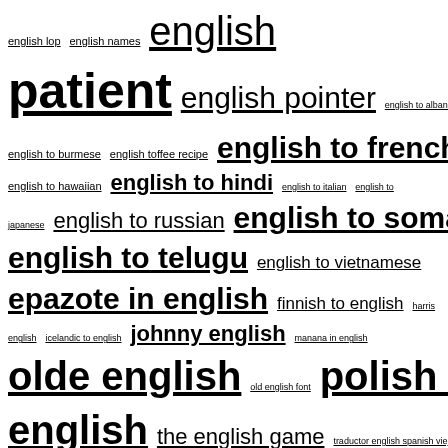english lop english names english patient english pointer english to albanian english to burmese english toffee recipe english to french english to hawaiian english to hindi english to italian english to japanese english to russian english to somali english to telugu english to vietnamese epazote in english finnish to english harris english icelandic to english johnny english manana in english olde english old english font polish to english the english game traductor english spanish viejo